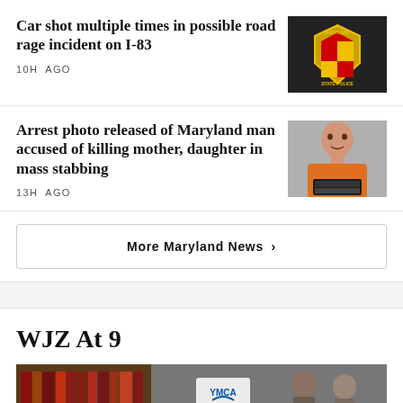Car shot multiple times in possible road rage incident on I-83
10H AGO
[Figure (photo): Maryland State Police vehicle with badge/shield logo on door]
Arrest photo released of Maryland man accused of killing mother, daughter in mass stabbing
13H AGO
[Figure (photo): Arrest mugshot of man in orange shirt]
More Maryland News >
WJZ At 9
[Figure (screenshot): Live news broadcast thumbnail showing bookshelf, YMCA logo, and people in background with LIVE badge overlay]